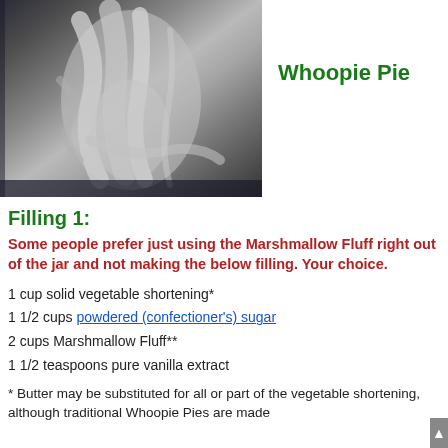[Figure (photo): Close-up photo of white marshmallow fluff being mixed in a bowl, showing swirling white fluffy texture]
Whoopie Pie
Filling 1:
Some people prefer just using the Marshmallow Fluff right out of the jar and not making the below filling. Your choice.
1 cup solid vegetable shortening*
1 1/2 cups powdered (confectioner's) sugar
2 cups Marshmallow Fluff**
1 1/2 teaspoons pure vanilla extract
* Butter may be substituted for all or part of the vegetable shortening, although traditional Whoopie Pies are made